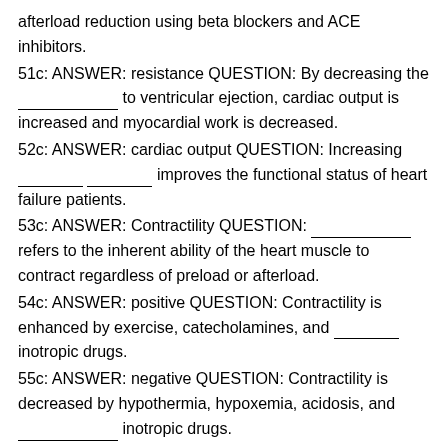afterload reduction using beta blockers and ACE inhibitors.
51c: ANSWER: resistance QUESTION: By decreasing the ___ to ventricular ejection, cardiac output is increased and myocardial work is decreased.
52c: ANSWER: cardiac output QUESTION: Increasing ___ ___ improves the functional status of heart failure patients.
53c: ANSWER: Contractility QUESTION: ___ refers to the inherent ability of the heart muscle to contract regardless of preload or afterload.
54c: ANSWER: positive QUESTION: Contractility is enhanced by exercise, catecholamines, and ___ inotropic drugs.
55c: ANSWER: negative QUESTION: Contractility is decreased by hypothermia, hypoxemia, acidosis, and ___ inotropic drugs.